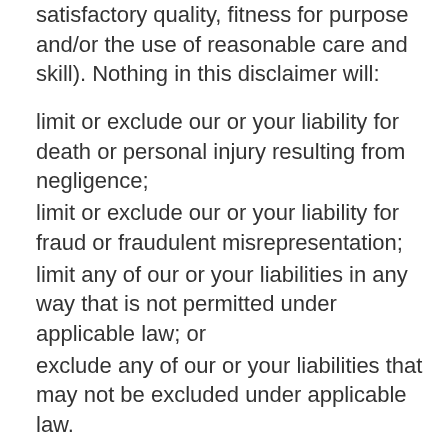satisfactory quality, fitness for purpose and/or the use of reasonable care and skill). Nothing in this disclaimer will:
limit or exclude our or your liability for death or personal injury resulting from negligence;
limit or exclude our or your liability for fraud or fraudulent misrepresentation;
limit any of our or your liabilities in any way that is not permitted under applicable law; or
exclude any of our or your liabilities that may not be excluded under applicable law.
The limitations and exclusions of liability set out in this Section and elsewhere in this